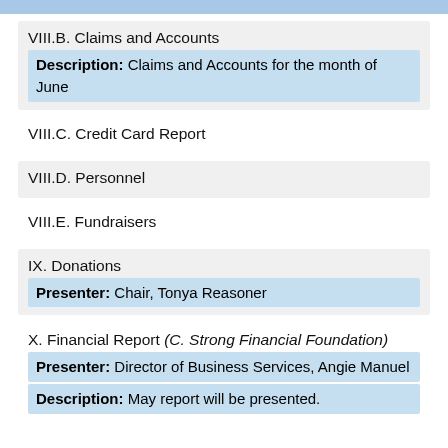VIII.B. Claims and Accounts
Description: Claims and Accounts for the month of June
VIII.C. Credit Card Report
VIII.D. Personnel
VIII.E. Fundraisers
IX. Donations
Presenter: Chair, Tonya Reasoner
X. Financial Report (C. Strong Financial Foundation)
Presenter: Director of Business Services, Angie Manuel
Description: May report will be presented.